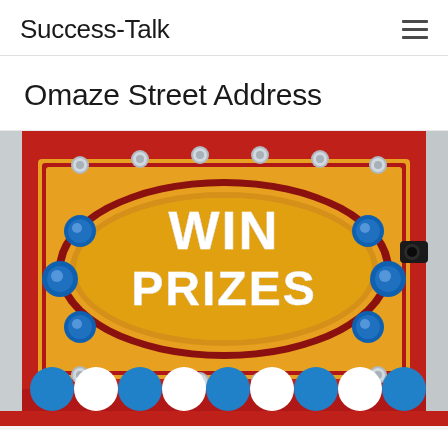Success-Talk
Omaze Street Address
[Figure (photo): Colorful carnival game booth sign with ornate red and yellow decoration reading 'WIN PRIZES' in large white and dark blue graffiti-style lettering on a gold/orange oval background, decorated with blue circular lights and silver medallion ornaments, with blue and white scalloped awning at the bottom.]